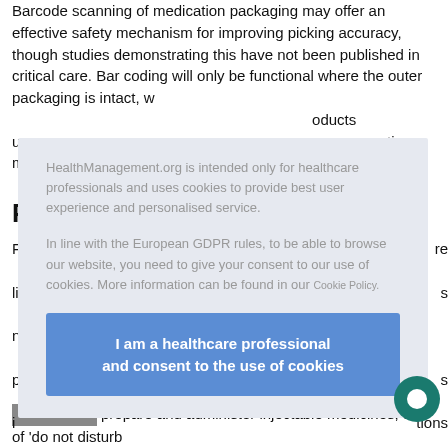Barcode scanning of medication packaging may offer an effective safety mechanism for improving picking accuracy, though studies demonstrating this have not been published in critical care. Bar coding will only be functional where the outer packaging is intact, w... oducts u... tions n...
P...
F... re li... s n... p... s i... tions c...
[Figure (screenshot): Modal/cookie consent overlay on HealthManagement.org website. Contains text: 'HealthManagement.org is intended only for healthcare professionals and uses cookies to provide best user experience and personalised service.' and 'In line with the European GDPR rules, to be able to browse our website, you need to give your consent to our use of cookies. More information can be found in our Cookie Policy.' with a blue button: 'I am a healthcare professional and consent to the use of cookies']
prepare and administer injectable medicines, use of 'do not disturb...